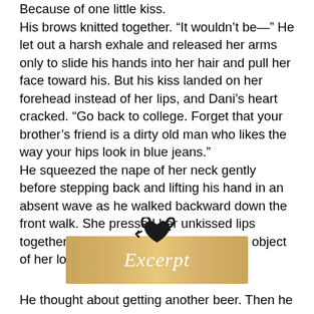Because of one little kiss.
His brows knitted together. “It wouldn’t be—” He let out a harsh exhale and released her arms only to slide his hands into her hair and pull her face toward his. But his kiss landed on her forehead instead of her lips, and Dani’s heart cracked. “Go back to college. Forget that your brother’s friend is a dirty old man who likes the way your hips look in blue jeans.”
He squeezed the nape of her neck gently before stepping back and lifting his hand in an absent wave as he walked backward down the front walk. She pressed her unkissed lips together and watched in disbelief as the object of her long-held affection drifted away.
[Figure (illustration): An excerpt banner with a decorative ampersand/heart icon above a golden gradient rectangular banner reading 'Excerpt' in white italic script.]
He thought about getting another beer. Then he